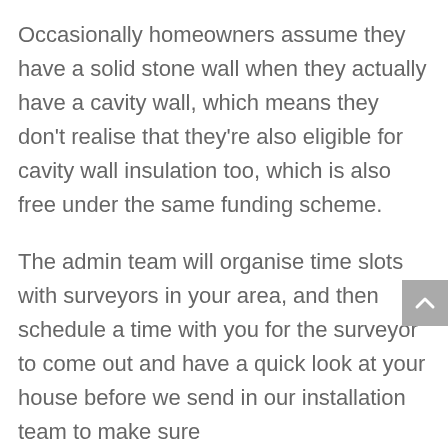Occasionally homeowners assume they have a solid stone wall when they actually have a cavity wall, which means they don't realise that they're also eligible for cavity wall insulation too, which is also free under the same funding scheme.
The admin team will organise time slots with surveyors in your area, and then schedule a time with you for the surveyor to come out and have a quick look at your house before we send in our installation team to make sure